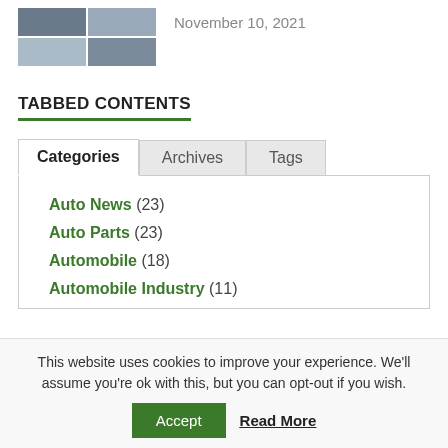[Figure (photo): Grid of car interior and exterior photos]
November 10, 2021
TABBED CONTENTS
Categories | Archives | Tags (tab navigation)
Auto News (23)
Auto Parts (23)
Automobile (18)
Automobile Industry (11)
This website uses cookies to improve your experience. We'll assume you're ok with this, but you can opt-out if you wish.
Accept  Read More